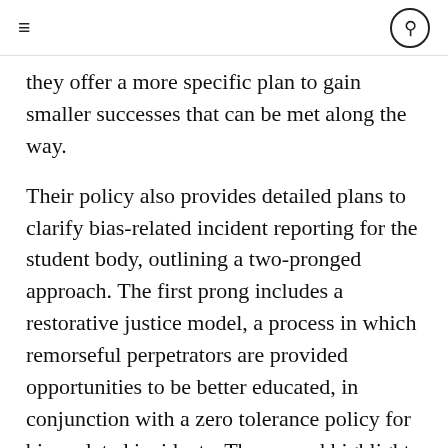≡  🔍
they offer a more specific plan to gain smaller successes that can be met along the way.
Their policy also provides detailed plans to clarify bias-related incident reporting for the student body, outlining a two-pronged approach. The first prong includes a restorative justice model, a process in which remorseful perpetrators are provided opportunities to be better educated, in conjunction with a zero tolerance policy for bias-related incidents. The second highlights the importance of being